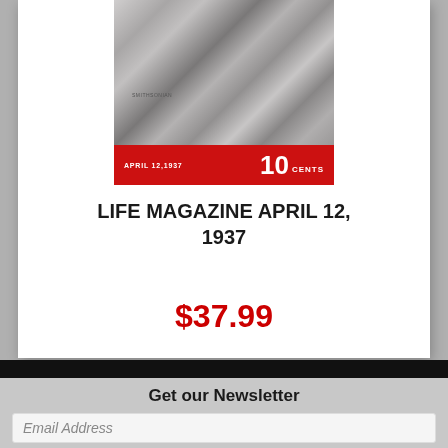[Figure (photo): Black and white cover of LIFE Magazine dated April 12, 1937, showing a textured fabric/clothing and hands in grayscale. Red banner at bottom reads APRIL 12,1937 10 CENTS.]
LIFE MAGAZINE APRIL 12, 1937
$37.99
Get our Newsletter
Email Address